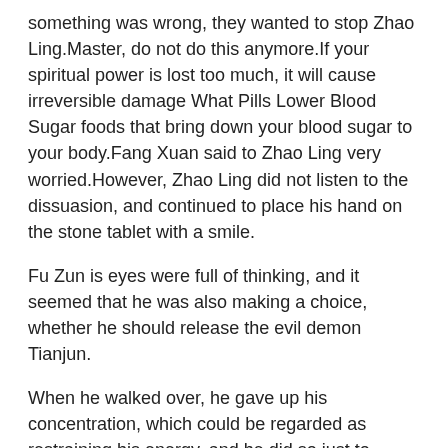something was wrong, they wanted to stop Zhao Ling.Master, do not do this anymore.If your spiritual power is lost too much, it will cause irreversible damage What Pills Lower Blood Sugar foods that bring down your blood sugar to your body.Fang Xuan said to Zhao Ling very worried.However, Zhao Ling did not listen to the dissuasion, and continued to place his hand on the stone tablet with a smile.
Fu Zun is eyes were full of thinking, and it seemed that he was also making a choice, whether he should release the evil demon Tianjun.
When he walked over, he gave up his concentration, which could be regarded as restraining his energy, and he did so just to prevent the other party from noticing.
Zhao Ling looked at the scene in front of him carefully, and felt that this trick really did not look so fancy.